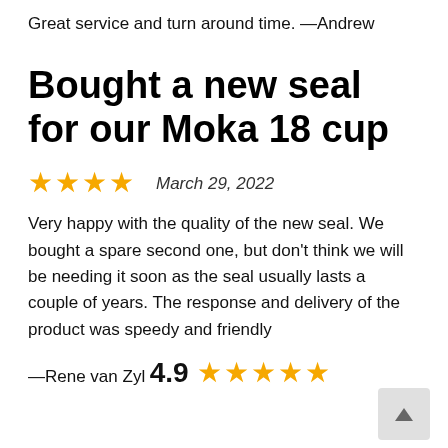Great service and turn around time.
—Andrew
Bought a new seal for our Moka 18 cup
★★★★   March 29, 2022
Very happy with the quality of the new seal. We bought a spare second one, but don't think we will be needing it soon as the seal usually lasts a couple of years. The response and delivery of the product was speedy and friendly
—Rene van Zyl
4.9 ★★★★★